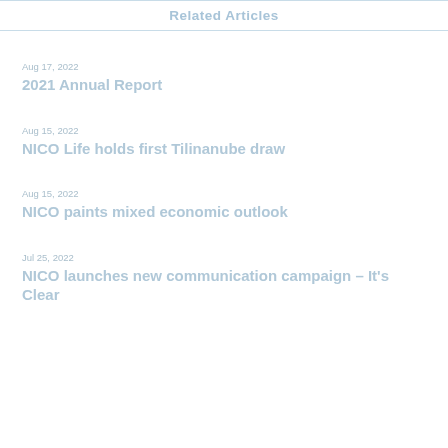Related Articles
Aug 17, 2022
2021 Annual Report
Aug 15, 2022
NICO Life holds first Tilinanube draw
Aug 15, 2022
NICO paints mixed economic outlook
Jul 25, 2022
NICO launches new communication campaign – It's Clear